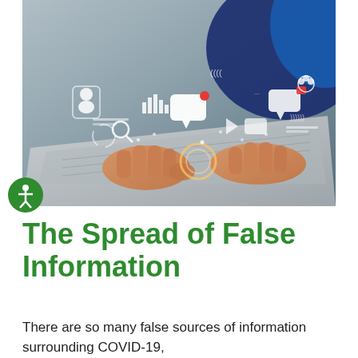[Figure (photo): Close-up photo of hands typing on a laptop keyboard with digital social media and communication icons floating above, including chat bubbles, user icons, bar chart, search icon, and notification indicators. Blue-toned background.]
The Spread of False Information
There are so many false sources of information surrounding COVID-19,